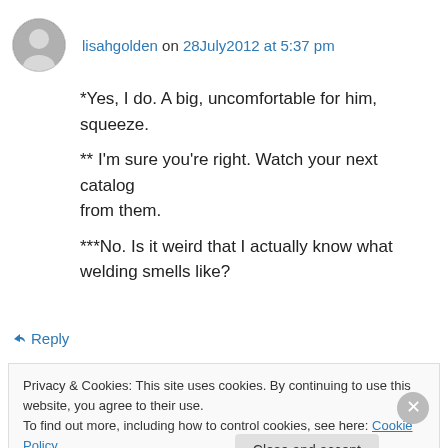lisahgolden on 28July2012 at 5:37 pm
*Yes, I do. A big, uncomfortable for him, squeeze.
** I'm sure you're right. Watch your next catalog from them.
***No. Is it weird that I actually know what welding smells like?
↳ Reply
Privacy & Cookies: This site uses cookies. By continuing to use this website, you agree to their use.
To find out more, including how to control cookies, see here: Cookie Policy